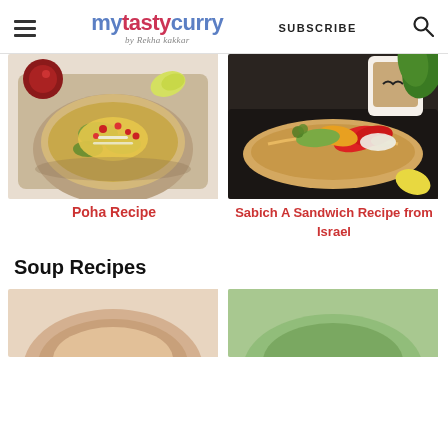mytastycurry by Rekha kakkar | SUBSCRIBE
[Figure (photo): Poha recipe dish - a bowl of flattened rice with pomegranate, lemon and garnishes]
[Figure (photo): Sabich sandwich with vegetables and a coffee cup]
Poha Recipe
Sabich A Sandwich Recipe from Israel
Soup Recipes
[Figure (photo): Soup photo partial view bottom left]
[Figure (photo): Soup photo partial view bottom right]